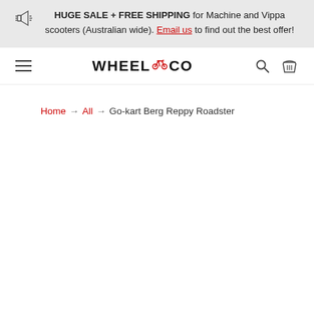HUGE SALE + FREE SHIPPING for Machine and Vippa scooters (Australian wide). Email us to find out the best offer!
[Figure (logo): WHEEL.CO logo with bicycle icon in red between WHEEL and CO]
Home → All → Go-kart Berg Reppy Roadster